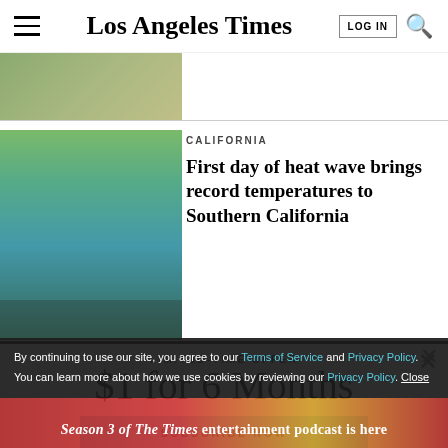Los Angeles Times
[Figure (photo): Partial image of outdoors scene at top of page]
CALIFORNIA
First day of heat wave brings record temperatures to Southern California
[Figure (photo): Person standing near a lake with trees and buildings in background]
LIMITED-TIME OFFER
$1 for 6 Months
SUBSCRIBE NOW
By continuing to use our site, you agree to our Terms of Service and Privacy Policy. You can learn more about how we use cookies by reviewing our Privacy Policy. Close
Season 3 of The Times entertainment podcast is here